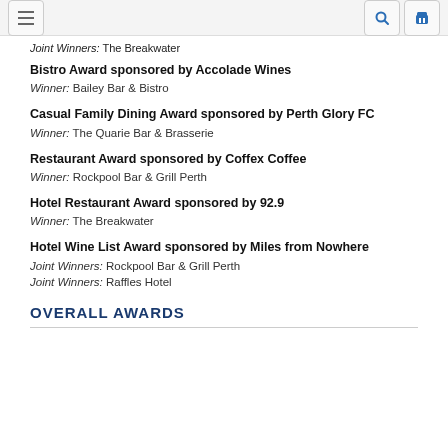Joint Winners: The Breakwater
Bistro Award sponsored by Accolade Wines
Winner: Bailey Bar & Bistro
Casual Family Dining Award sponsored by Perth Glory FC
Winner: The Quarie Bar & Brasserie
Restaurant Award sponsored by Coffex Coffee
Winner: Rockpool Bar & Grill Perth
Hotel Restaurant Award sponsored by 92.9
Winner: The Breakwater
Hotel Wine List Award sponsored by Miles from Nowhere
Joint Winners: Rockpool Bar & Grill Perth
Joint Winners: Raffles Hotel
OVERALL AWARDS